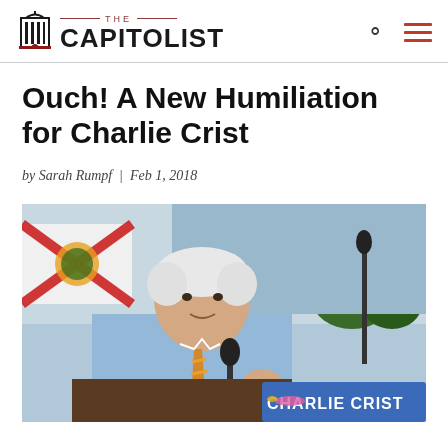THE CAPITOLIST
Ouch! A New Humiliation for Charlie Crist
by Sarah Rumpf | Feb 1, 2018
[Figure (photo): Charlie Crist speaking at an outdoor podium with a Florida state flag in the background and a 'CHARLIE CRIST' sign on the podium]